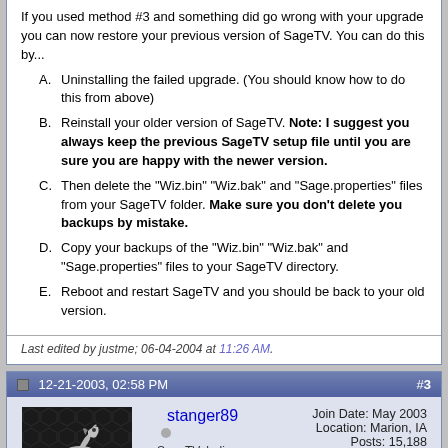If you used method #3 and something did go wrong with your upgrade you can now restore your previous version of SageTV. You can do this by...
A. Uninstalling the failed upgrade. (You should know how to do this from above)
B. Reinstall your older version of SageTV. Note: I suggest you always keep the previous SageTV setup file until you are sure you are happy with the newer version.
C. Then delete the "Wiz.bin" "Wiz.bak" and "Sage.properties" files from your SageTV folder. Make sure you don't delete you backups by mistake.
D. Copy your backups of the "Wiz.bin" "Wiz.bak" and "Sage.properties" files to your SageTV directory.
E. Reboot and restart SageTV and you should be back to your old version.
Last edited by justme; 06-04-2004 at 11:26 AM.
12-21-2003, 02:58 PM  #3
[Figure (photo): Avatar image of a silver mustang horse on dark hexagonal background]
stanger89
SageTVaholic
Join Date: May 2003
Location: Marion, IA
Posts: 15,188
stranger89